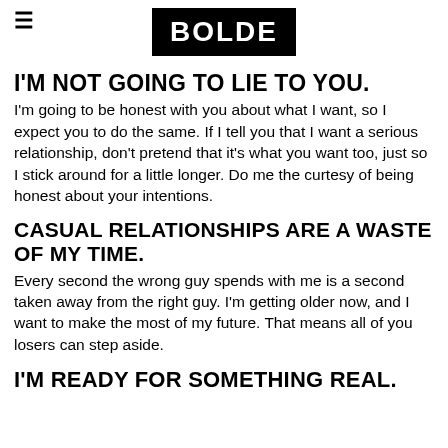BOLDE
I'M NOT GOING TO LIE TO YOU.
I'm going to be honest with you about what I want, so I expect you to do the same. If I tell you that I want a serious relationship, don't pretend that it's what you want too, just so I stick around for a little longer. Do me the curtesy of being honest about your intentions.
CASUAL RELATIONSHIPS ARE A WASTE OF MY TIME.
Every second the wrong guy spends with me is a second taken away from the right guy. I'm getting older now, and I want to make the most of my future. That means all of you losers can step aside.
I'M READY FOR SOMETHING REAL.